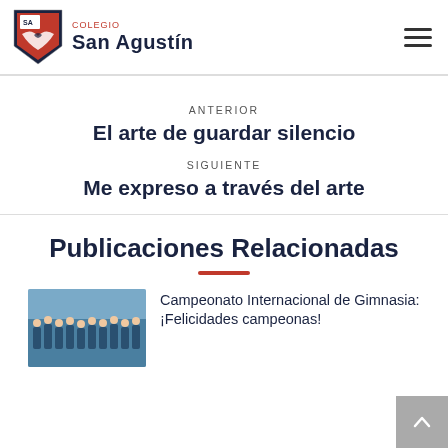Colegio San Agustín
ANTERIOR
El arte de guardar silencio
SIGUIENTE
Me expreso a través del arte
Publicaciones Relacionadas
Campeonato Internacional de Gimnasia: ¡Felicidades campeonas!